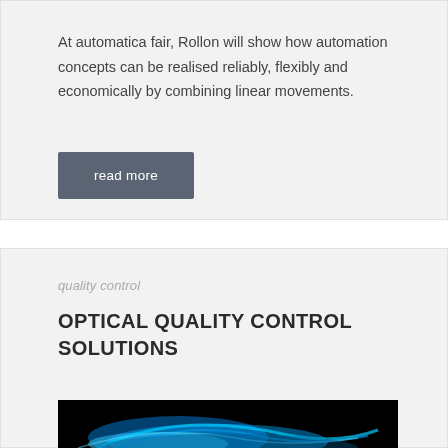At automatica fair, Rollon will show how automation concepts can be realised reliably, flexibly and economically by combining linear movements.
read more
quality control
OPTICAL QUALITY CONTROL SOLUTIONS
[Figure (photo): Photo of blue glowing light streaks on a black background, partially visible at the bottom of the page.]